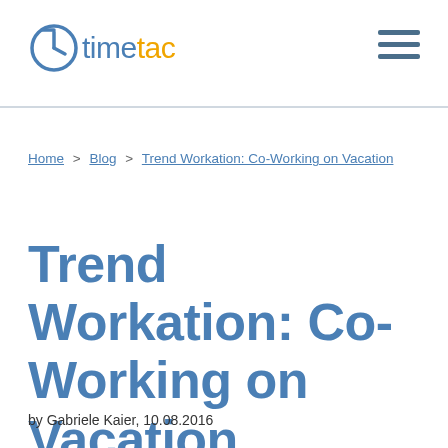timetac
Home > Blog > Trend Workation: Co-Working on Vacation
Trend Workation: Co-Working on Vacation
by Gabriele Kaier, 10.08.2016